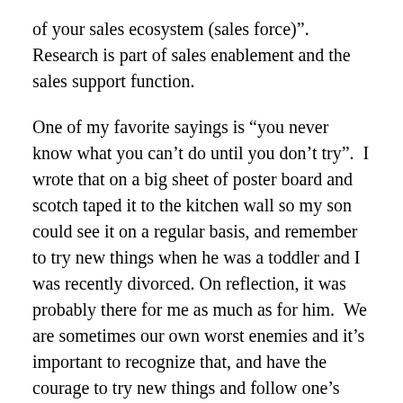of your sales ecosystem (sales force)”.  Research is part of sales enablement and the sales support function.
One of my favorite sayings is “you never know what you can’t do until you don’t try”.  I wrote that on a big sheet of poster board and scotch taped it to the kitchen wall so my son could see it on a regular basis, and remember to try new things when he was a toddler and I was recently divorced. On reflection, it was probably there for me as much as for him.  We are sometimes our own worst enemies and it’s important to recognize that, and have the courage to try new things and follow one’s dreams, rather than holding back or letting the bastards grind you down.
In the September 10 2018 issue of Sports Illustrated,